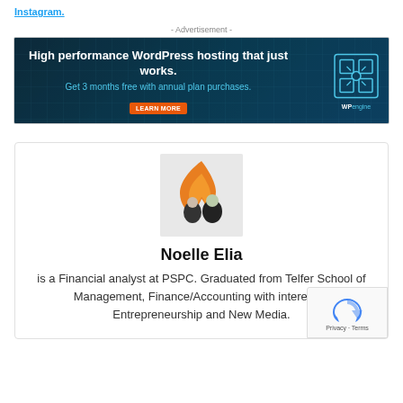Instagram.
- Advertisement -
[Figure (screenshot): WP Engine advertisement banner: 'High performance WordPress hosting that just works. Get 3 months free with annual plan purchases.' with a LEARN MORE button and WP Engine logo on a dark teal background.]
[Figure (photo): Profile photo showing two people (a woman and a man) with an orange flame logo overlaid on top, on a light gray background.]
Noelle Elia
is a Financial analyst at PSPC. Graduated from Telfer School of Management, Finance/Accounting with interest to Entrepreneurship and New Media.